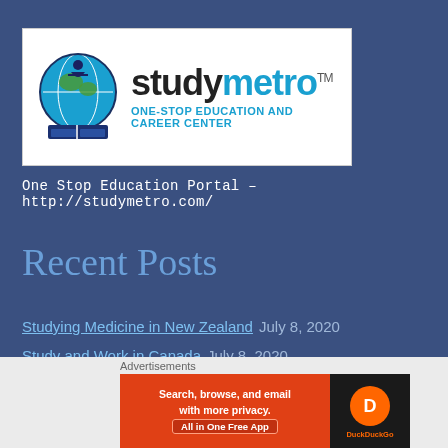[Figure (logo): StudyMetro logo with globe and books graphic, brand name in black and blue, tagline ONE-STOP EDUCATION AND CAREER CENTER]
One Stop Education Portal – http://studymetro.com/
Recent Posts
Studying Medicine in New Zealand  July 8, 2020
Study and Work in Canada  July 8, 2020
Australia Work and Study Program  July 7, 2020
Advertisements
[Figure (other): DuckDuckGo advertisement banner: Search, browse, and email with more privacy. All in One Free App. Shows DuckDuckGo logo on dark background.]